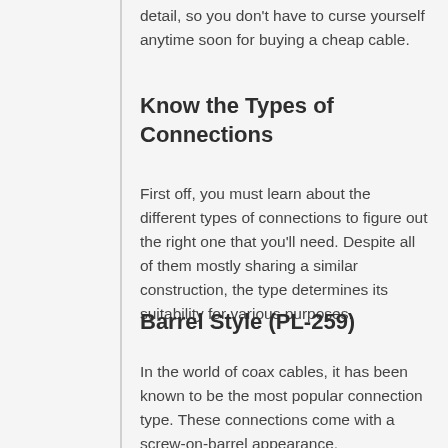detail, so you don't have to curse yourself anytime soon for buying a cheap cable.
Know the Types of Connections
First off, you must learn about the different types of connections to figure out the right one that you'll need. Despite all of them mostly sharing a similar construction, the type determines its suitability for various purposes.
Barrel Style (PL-259)
In the world of coax cables, it has been known to be the most popular connection type. These connections come with a screw-on-barrel appearance.